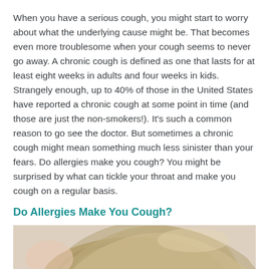When you have a serious cough, you might start to worry about what the underlying cause might be. That becomes even more troublesome when your cough seems to never go away. A chronic cough is defined as one that lasts for at least eight weeks in adults and four weeks in kids. Strangely enough, up to 40% of those in the United States have reported a chronic cough at some point in time (and those are just the non-smokers!). It's such a common reason to go see the doctor. But sometimes a chronic cough might mean something much less sinister than your fears. Do allergies make you cough? You might be surprised by what can tickle your throat and make you cough on a regular basis.
Do Allergies Make You Cough?
[Figure (photo): Photo of a person's hair/head, partially visible, with a light gray/beige background]